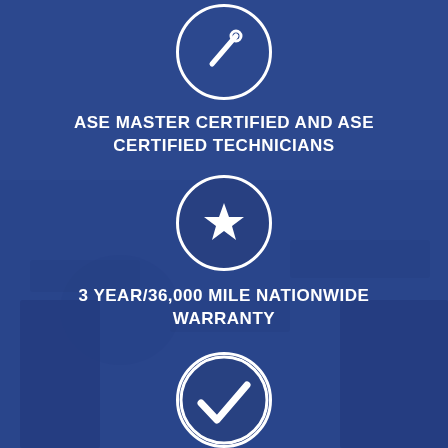[Figure (infographic): Blue background infographic with auto repair shop. Top section: circle icon with wrench/tool, label 'ASE MASTER CERTIFIED AND ASE CERTIFIED TECHNICIANS'. Middle section: circle icon with star, label '3 YEAR/36,000 MILE NATIONWIDE WARRANTY'. Bottom section: partial circle icon with checkmark, partially cut off.]
ASE MASTER CERTIFIED AND ASE CERTIFIED TECHNICIANS
3 YEAR/36,000 MILE NATIONWIDE WARRANTY